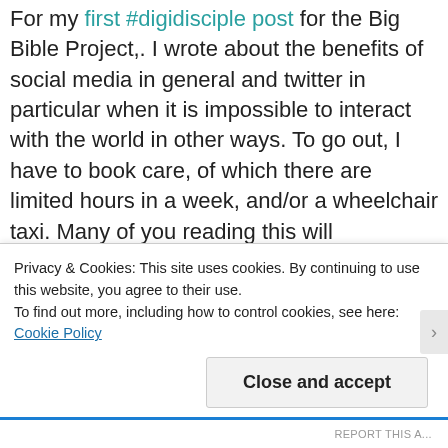For my first #digidisciple post for the Big Bible Project,. I wrote about the benefits of social media in general and twitter in particular when it is impossible to interact with the world in other ways. To go out, I have to book care, of which there are limited hours in a week, and/or a wheelchair taxi. Many of you reading this will understand just how expensive this can be. This all also depends on me having the finances to cover the cost of transport and having a good day energy wise to be able to go out. For both those reasons,. the places i go to are often
Privacy & Cookies: This site uses cookies. By continuing to use this website, you agree to their use.
To find out more, including how to control cookies, see here: Cookie Policy
Close and accept